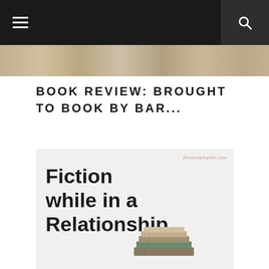Navigation bar with hamburger menu and search icon
[Figure (photo): Top image strip showing a blurred horizontal book/shelf image]
BOOK REVIEW: BROUGHT TO BOOK BY BAR...
[Figure (photo): Book cover image with text 'Fiction while in a Relationship' and a stack of books at the bottom, with a watermark in the top right corner]